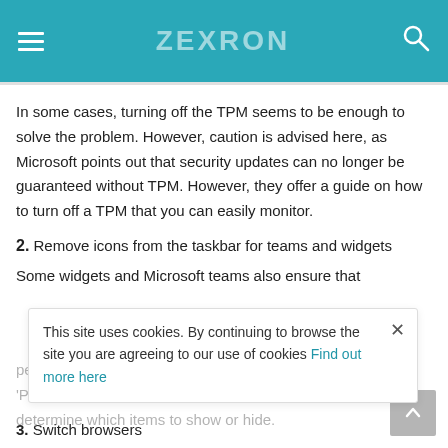ZEXRON
In some cases, turning off the TPM seems to be enough to solve the problem. However, caution is advised here, as Microsoft points out that security updates can no longer be guaranteed without TPM. However, they offer a guide on how to turn off a TPM that you can easily monitor.
2. Remove icons from the taskbar for teams and widgets
Some widgets and Microsoft teams also ensure that performance on Windows 11 computers is limited. If you do...
This site uses cookies. By continuing to browse the site you are agreeing to our use of cookies Find out more here
3. Switch browsers